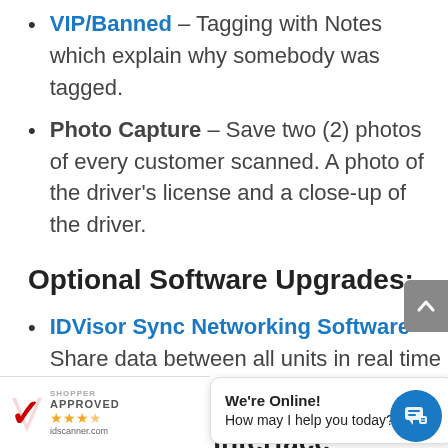VIP/Banned – Tagging with Notes which explain why somebody was tagged.
Photo Capture – Save two (2) photos of every customer scanned. A photo of the driver's license and a close-up of the driver.
Optional Software Upgrades:
IDVisor Sync Networking Software – Share data between all units in real time (Call us to learn more – 800-574-5034)
Intuitive User Interface
the screen size to a 7" capacitive touch
[Figure (logo): Shopper Approved badge with star rating and idscanner.com domain]
We're Online! How may I help you today?